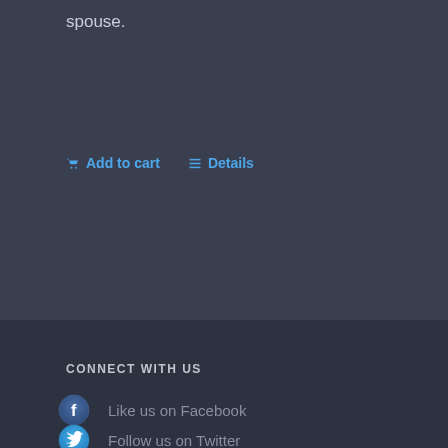spouse.
Add to cart   Details
CONNECT WITH US
Like us on Facebook
Follow us on Twitter